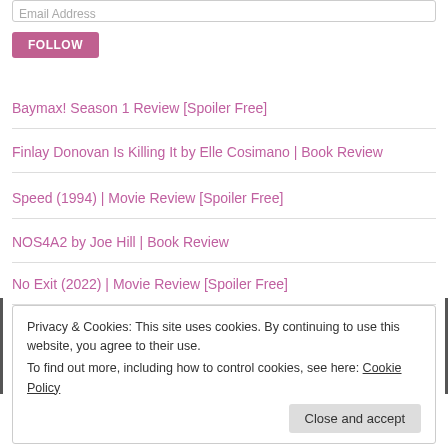Email Address
FOLLOW
Baymax! Season 1 Review [Spoiler Free]
Finlay Donovan Is Killing It by Elle Cosimano | Book Review
Speed (1994) | Movie Review [Spoiler Free]
NOS4A2 by Joe Hill | Book Review
No Exit (2022) | Movie Review [Spoiler Free]
Privacy & Cookies: This site uses cookies. By continuing to use this website, you agree to their use. To find out more, including how to control cookies, see here: Cookie Policy
Close and accept